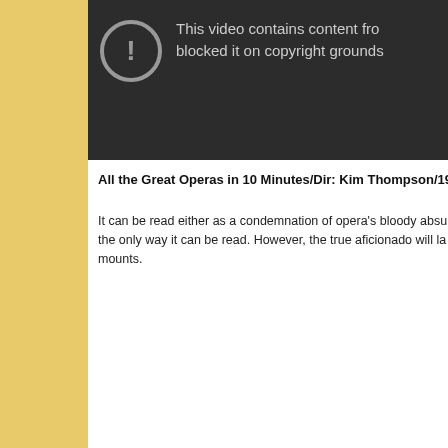[Figure (screenshot): YouTube video blocked panel with exclamation icon and text: 'This video contains content fro... blocked it on copyright grounds']
All the Great Operas in 10 Minutes/Dir: Kim Thompson/1992
It can be read either as a condemnation of opera's bloody absu... the only way it can be read. However, the true aficionado will la... mounts.
[Figure (screenshot): YouTube video thumbnail showing 'All the Great Operas in 10 Minutes' with avatar icon and opera cartoon scene]